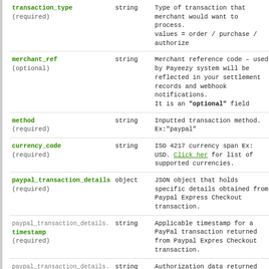| Field | Type | Description |
| --- | --- | --- |
| transaction_type
(required) | string | Type of transaction that merchant would want to process.
values = order / purchase / authorize |
| merchant_ref
(optional) | string | Merchant reference code – used by Payeezy system will be reflected in your settlement records and webhook notifications.
It is an "optional" field |
| method
(required) | string | Inputted transaction method.
Ex:"paypal" |
| currency_code
(required) | string | ISO 4217 currency span Ex: USD. Click here for list of supported currencies. |
| paypal_transaction_details
(required) | object | JSON object that holds specific details obtained from Paypal Express Checkout transaction. |
| paypal_transaction_details.
timestamp
(required) | string | Applicable timestamp for a PayPal transaction returned from Paypal Express Checkout transaction. |
| paypal_transaction_details.
authorization
(required) | string | Authorization data returned from PayPal for a transaction. Its also paypal transaction id. |